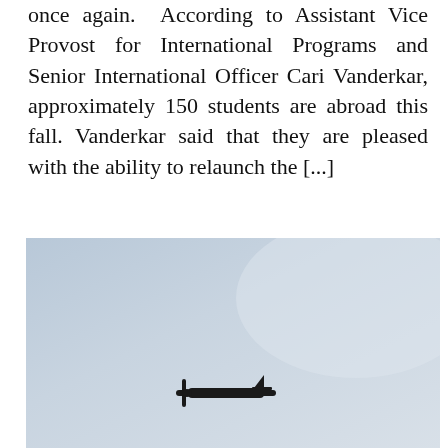once again.  According to Assistant Vice Provost for International Programs and Senior International Officer Cari Vanderkar, approximately 150 students are abroad this fall. Vanderkar said that they are pleased with the ability to relaunch the [...]
[Figure (photo): A small airplane silhouetted against a pale blue-grey sky, flying in the lower-left quadrant of the image.]